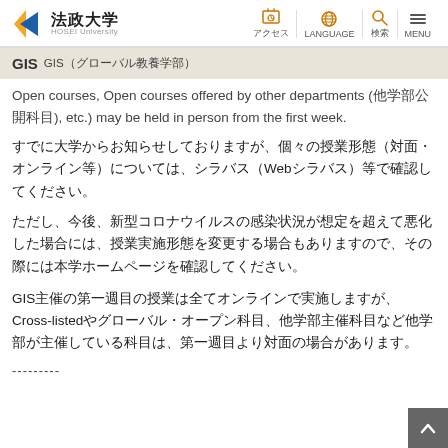法政大学 HOSEI University | アクセス | LANGUAGE | 検索 | MENU
GIS　GIS（グローバル教養学部）
Open courses, Open courses offered by other departments (他学部公開科目), etc.) may be held in person from the first week.
すでに大学からお知らせしておりますが、個々の授業形態（対面・オンライン等）については、シラバス（Webシラバス）等で確認してください。
ただし、今後、新型コロナウイルスの感染状況が想定を超えて悪化した場合には、授業実施形態を変更する場合もありますので、その際には本学ホームページを確認してください。
GIS主催の第一週目の授業は全てオンラインで実施しますが、Cross-listedやグローバル・オープン科目、他学部主催科目など他学部が主催している科目は、第一週目より対面の場合があります。
---------